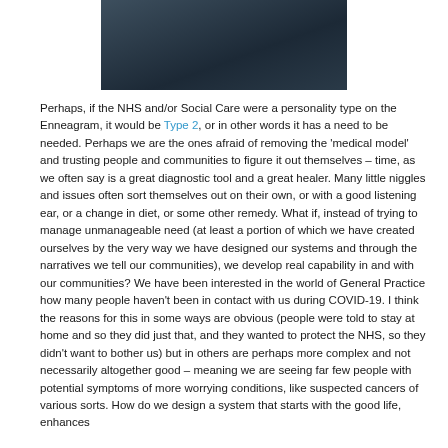[Figure (photo): Partial photo of a person wearing a dark suit jacket and light shirt, cropped to show upper body/chest area.]
Perhaps, if the NHS and/or Social Care were a personality type on the Enneagram, it would be Type 2, or in other words it has a need to be needed. Perhaps we are the ones afraid of removing the 'medical model' and trusting people and communities to figure it out themselves – time, as we often say is a great diagnostic tool and a great healer. Many little niggles and issues often sort themselves out on their own, or with a good listening ear, or a change in diet, or some other remedy. What if, instead of trying to manage unmanageable need (at least a portion of which we have created ourselves by the very way we have designed our systems and through the narratives we tell our communities), we develop real capability in and with our communities? We have been interested in the world of General Practice how many people haven't been in contact with us during COVID-19. I think the reasons for this in some ways are obvious (people were told to stay at home and so they did just that, and they wanted to protect the NHS, so they didn't want to bother us) but in others are perhaps more complex and not necessarily altogether good – meaning we are seeing far few people with potential symptoms of more worrying conditions, like suspected cancers of various sorts. How do we design a system that starts with the good life, enhances